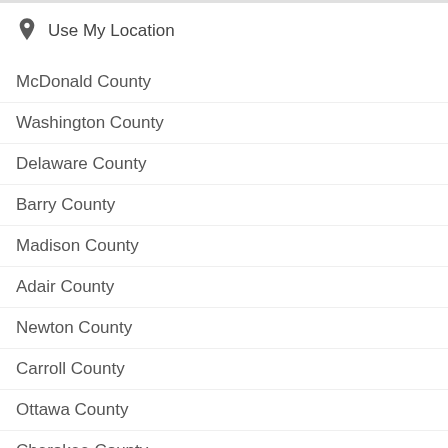Use My Location
McDonald County
Washington County
Delaware County
Barry County
Madison County
Adair County
Newton County
Carroll County
Ottawa County
Cherokee County